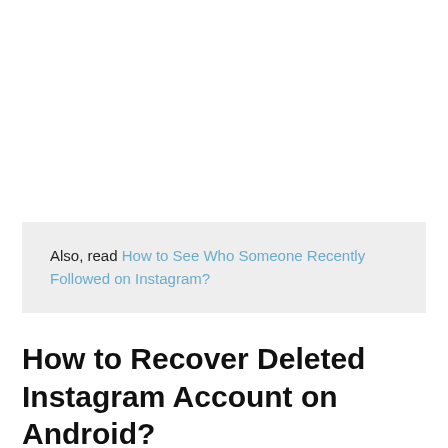Also, read How to See Who Someone Recently Followed on Instagram?
How to Recover Deleted Instagram Account on Android?